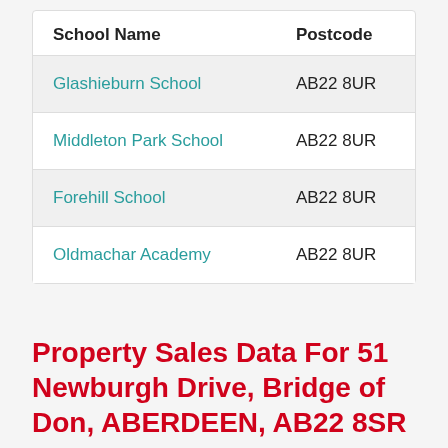| School Name | Postcode |
| --- | --- |
| Glashieburn School | AB22 8UR |
| Middleton Park School | AB22 8UR |
| Forehill School | AB22 8UR |
| Oldmachar Academy | AB22 8UR |
Property Sales Data For 51 Newburgh Drive, Bridge of Don, ABERDEEN, AB22 8SR